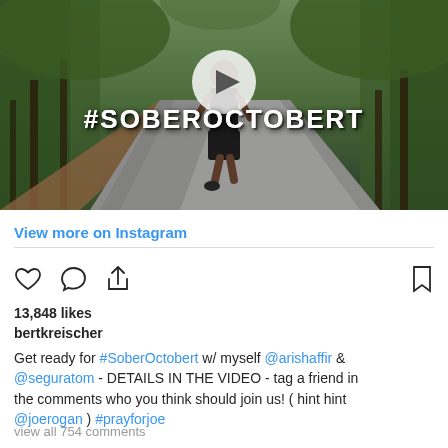[Figure (photo): Man running on a dirt/paved path in a forest wearing a black tank top and shorts. White play button overlay. Text overlay reads #SOBEROCTOBERT in white bold letters.]
View more on Instagram
[Figure (other): Instagram action icons: heart (like), speech bubble (comment), share arrow, and bookmark]
13,848 likes
bertkreischer
Get ready for #SoberOctobert w/ myself @arishaffir & @seguratom - DETAILS IN THE VIDEO - tag a friend in the comments who you think should join us! ( hint hint @joerogan ) #prayforjoe
view all 754 comments